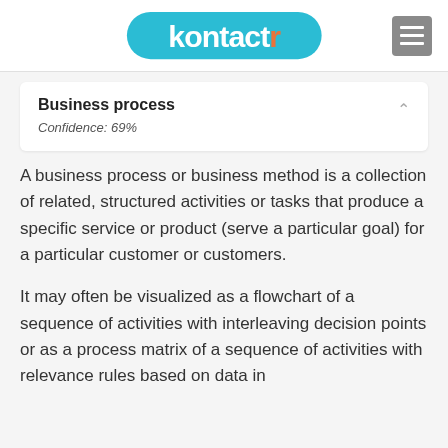kontactr
Business process
Confidence: 69%
A business process or business method is a collection of related, structured activities or tasks that produce a specific service or product (serve a particular goal) for a particular customer or customers.
It may often be visualized as a flowchart of a sequence of activities with interleaving decision points or as a process matrix of a sequence of activities with relevance rules based on data in